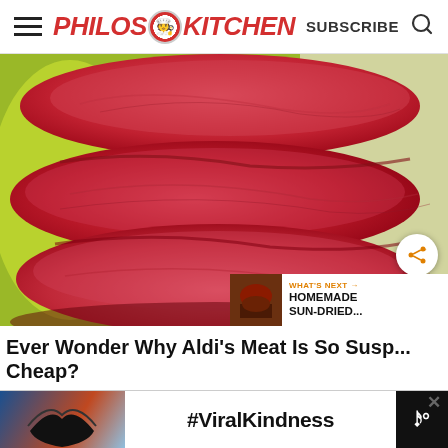Philos Kitchen — SUBSCRIBE
[Figure (photo): Close-up photo of stacked raw red meat slices against a green background]
Ever Wonder Why Aldi's Meat Is So Susp... Cheap?
[Figure (photo): Thumbnail image showing homemade sun-dried food]
WHAT'S NEXT → HOMEMADE SUN-DRIED...
[Figure (photo): Ad banner showing person making heart hands with #ViralKindness text]